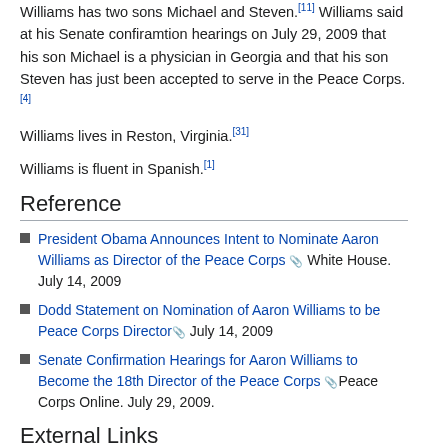Williams has two sons Michael and Steven.[11] Williams said at his Senate confiramtion hearings on July 29, 2009 that his son Michael is a physician in Georgia and that his son Steven has just been accepted to serve in the Peace Corps.[4]
Williams lives in Reston, Virginia.[31]
Williams is fluent in Spanish.[1]
Reference
President Obama Announces Intent to Nominate Aaron Williams as Director of the Peace Corps [external] White House. July 14, 2009
Dodd Statement on Nomination of Aaron Williams to be Peace Corps Director [external] July 14, 2009
Senate Confirmation Hearings for Aaron Williams to Become the 18th Director of the Peace Corps [external] Peace Corps Online. July 29, 2009.
External Links
[Figure (photo): Photo of Aaron Williams, Peace Corps Director, standing in front of an American flag and a Peace Corps flag. He is a middle-aged African American man wearing glasses.]